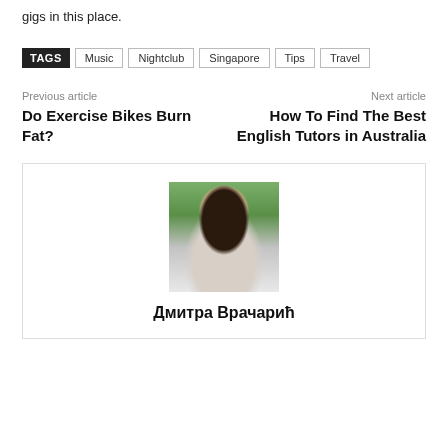gigs in this place.
TAGS  Music  Nightclub  Singapore  Tips  Travel
Previous article
Do Exercise Bikes Burn Fat?
Next article
How To Find The Best English Tutors in Australia
[Figure (photo): Portrait photo of a young woman with long dark hair, sunglasses on head, wearing a white top, looking downward, outdoors with green foliage in background.]
Дмитра Врачарић